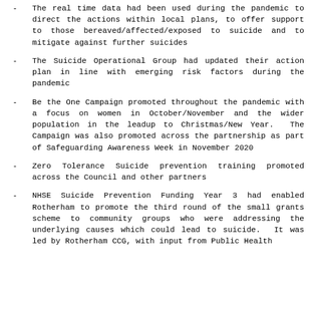The real time data had been used during the pandemic to direct the actions within local plans, to offer support to those bereaved/affected/exposed to suicide and to mitigate against further suicides
The Suicide Operational Group had updated their action plan in line with emerging risk factors during the pandemic
Be the One Campaign promoted throughout the pandemic with a focus on women in October/November and the wider population in the leadup to Christmas/New Year. The Campaign was also promoted across the partnership as part of Safeguarding Awareness Week in November 2020
Zero Tolerance Suicide prevention training promoted across the Council and other partners
NHSE Suicide Prevention Funding Year 3 had enabled Rotherham to promote the third round of the small grants scheme to community groups who were addressing the underlying causes which could lead to suicide. It was led by Rotherham CCG, with input from Public Health